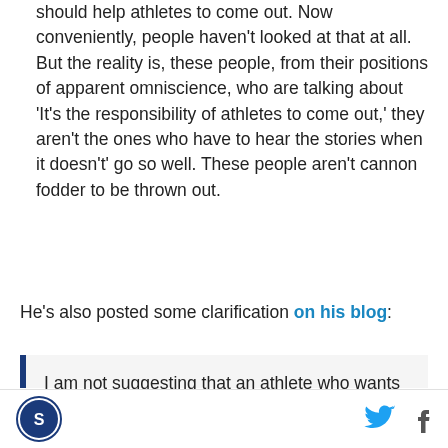should help athletes to come out. Now conveniently, people haven't looked at that at all. But the reality is, these people, from their positions of apparent omniscience, who are talking about 'It's the responsibility of athletes to come out,' they aren't the ones who have to hear the stories when it doesn't' go so well. These people aren't cannon fodder to be thrown out.
He's also posted some clarification on his blog:
I am not suggesting that an athlete who wants to come out shouldn't but the 16 year old at a premiership football academy doesn't owe the LGBT community his immediate coming out - especially